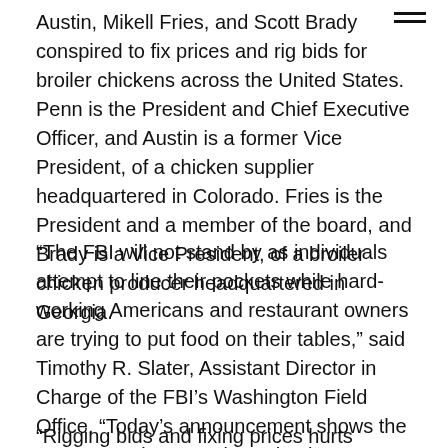Austin, Mikell Fries, and Scott Brady conspired to fix prices and rig bids for broiler chickens across the United States. Penn is the President and Chief Executive Officer, and Austin is a former Vice President, of a chicken supplier headquartered in Colorado. Fries is the President and a member of the board, and Brady is a Vice President, of a broiler chicken producer headquartered in Georgia.
“The FBI will not stand by as individuals attempt to line their pockets while hard-working Americans and restaurant owners are trying to put food on their tables,” said Timothy R. Slater, Assistant Director in Charge of the FBI’s Washington Field Office. “Today’s announcement shows the FBI’s commitment to investigating allegations of price fixing so that the perpetrators can be held accountable.”
“Rigging bids and fixing prices hurts consumers and